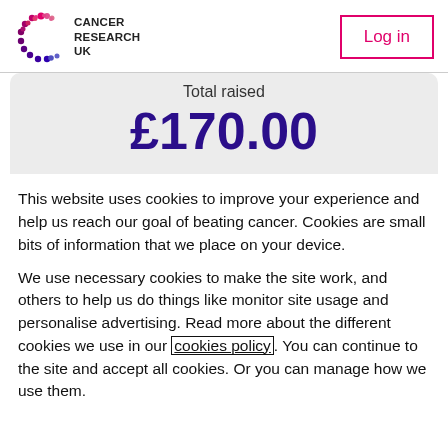[Figure (logo): Cancer Research UK logo with colorful C and text]
Log in
Total raised
£170.00
This website uses cookies to improve your experience and help us reach our goal of beating cancer. Cookies are small bits of information that we place on your device.
We use necessary cookies to make the site work, and others to help us do things like monitor site usage and personalise advertising. Read more about the different cookies we use in our cookies policy. You can continue to the site and accept all cookies. Or you can manage how we use them.